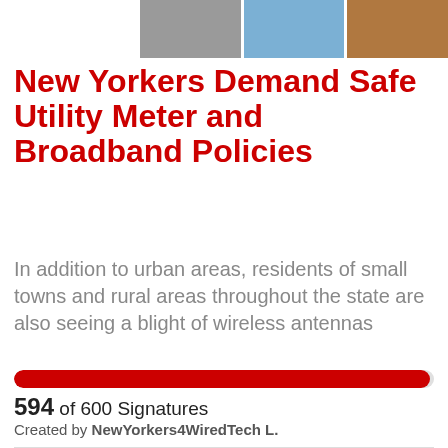[Figure (photo): Three-panel photo strip showing utility equipment/antennas, blue sky, and a brown/orange textured surface]
New Yorkers Demand Safe Utility Meter and Broadband Policies
In addition to urban areas, residents of small towns and rural areas throughout the state are also seeing a blight of wireless antennas
594 of 600 Signatures
Created by NewYorkers4WiredTech L.
[Figure (illustration): Circular illustration of MLK Jr. silhouette with text: True peace is not merely the absence of tension, it is the presence]